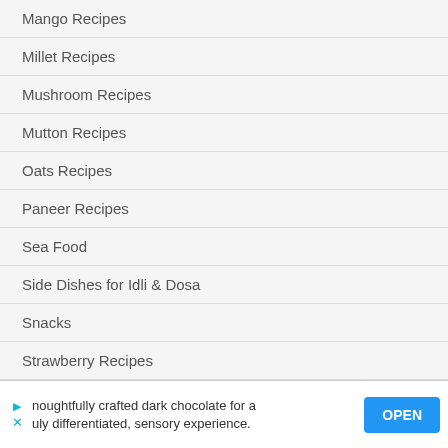Mango Recipes
Millet Recipes
Mushroom Recipes
Mutton Recipes
Oats Recipes
Paneer Recipes
Sea Food
Side Dishes for Idli & Dosa
Snacks
Strawberry Recipes
Veg Side Dish for Rice
Veg Variety Rice
noughtfully crafted dark chocolate for a uly differentiated, sensory experience.